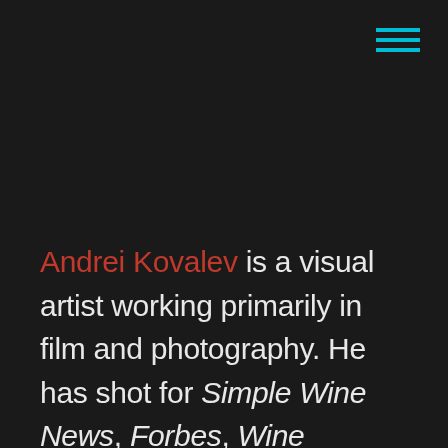[Figure (other): Hamburger menu icon with three cyan/teal horizontal lines in top-right corner]
Andrei Kovalev is a visual artist working primarily in film and photography. He has shot for Simple Wine News, Forbes, Wine Spectator, Nike, Der Spiegel, the United Nations, Le Monde, and Apple, and his work has been